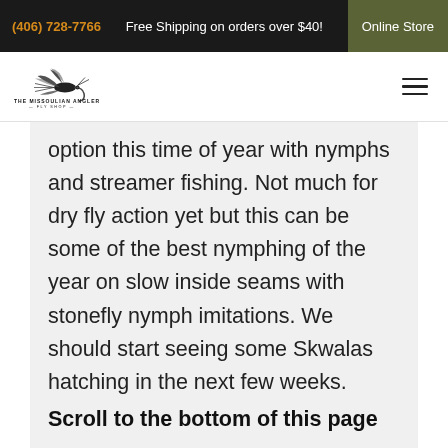(406) 728-7766  Free Shipping on orders over $40!  Online Store
[Figure (logo): The Missoulian Angler Fly Shop logo with fly fishing lure illustration]
option this time of year with nymphs and streamer fishing. Not much for dry fly action yet but this can be some of the best nymphing of the year on slow inside seams with stonefly nymph imitations. We should start seeing some Skwalas hatching in the next few weeks.
Scroll to the bottom of this page